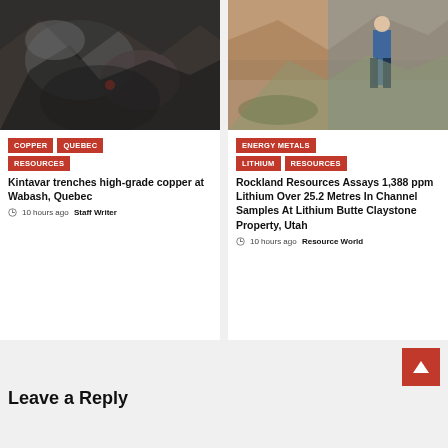[Figure (photo): Close-up photo of dark rock formations with copper mineral traces]
[Figure (photo): Photo of a person in blue shirt standing on a rocky hillside terrain in Utah]
COPPER  QUEBEC  RESOURCES
Kintavar trenches high-grade copper at Wabash, Quebec
10 hours ago  Staff Writer
ENERGY METALS  LITHIUM  RESOURCES
Rockland Resources Assays 1,388 ppm Lithium Over 25.2 Metres In Channel Samples At Lithium Butte Claystone Property, Utah
10 hours ago  Resource World
Leave a Reply